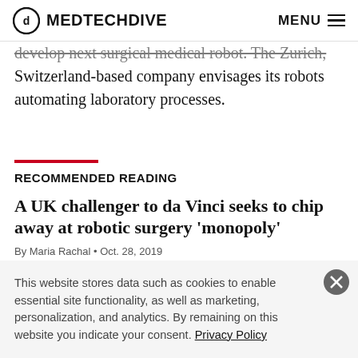MEDTECHDIVE | MENU
develop next surgical medical robot. The Zurich, Switzerland-based company envisages its robots automating laboratory processes.
RECOMMENDED READING
A UK challenger to da Vinci seeks to chip away at robotic surgery ‘monopoly’
By Maria Rachal • Oct. 28, 2019
This website stores data such as cookies to enable essential site functionality, as well as marketing, personalization, and analytics. By remaining on this website you indicate your consent. Privacy Policy